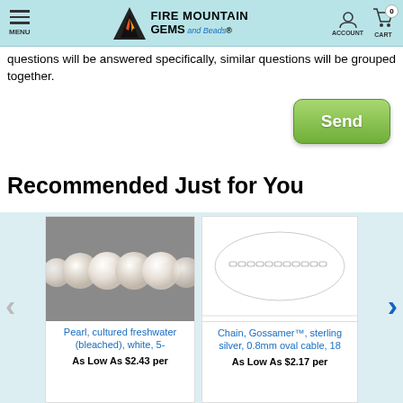MENU | FIRE MOUNTAIN GEMS and Beads | ACCOUNT | CART 0
questions will be answered specifically, similar questions will be grouped together.
[Figure (screenshot): Green Send button]
Recommended Just for You
[Figure (photo): Pearl, cultured freshwater (bleached), white, 5- product image on gray background]
Pearl, cultured freshwater (bleached), white, 5-
As Low As $2.43 per
[Figure (photo): Chain, Gossamer sterling silver 0.8mm oval cable product image on white background]
Chain, Gossamer™, sterling silver, 0.8mm oval cable, 18
As Low As $2.17 per